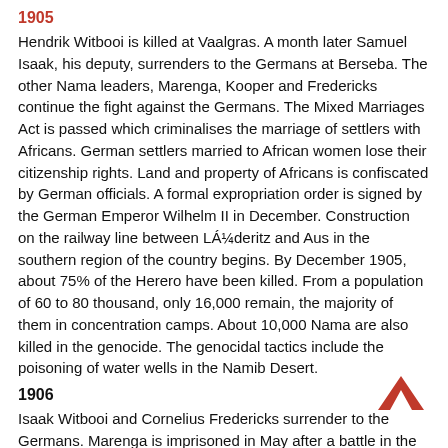1905
Hendrik Witbooi is killed at Vaalgras. A month later Samuel Isaak, his deputy, surrenders to the Germans at Berseba. The other Nama leaders, Marenga, Kooper and Fredericks continue the fight against the Germans. The Mixed Marriages Act is passed which criminalises the marriage of settlers with Africans. German settlers married to African women lose their citizenship rights. Land and property of Africans is confiscated by German officials. A formal expropriation order is signed by the German Emperor Wilhelm II in December. Construction on the railway line between Lüderitz and Aus in the southern region of the country begins. By December 1905, about 75% of the Herero have been killed. From a population of 60 to 80 thousand, only 16,000 remain, the majority of them in concentration camps. About 10,000 Nama are also killed in the genocide. The genocidal tactics include the poisoning of water wells in the Namib Desert.
1906
Isaak Witbooi and Cornelius Fredericks surrender to the Germans. Marenga is imprisoned in May after a battle in the Cape Colony. Cornelius Stuurman of the Bondelswarts surrenders also. In December Johannes Christian signs peace with Germans at Heirachabis, which is known as the 'Christmas Peace', and the Bondelswarts are allowed to live in Warmbad.